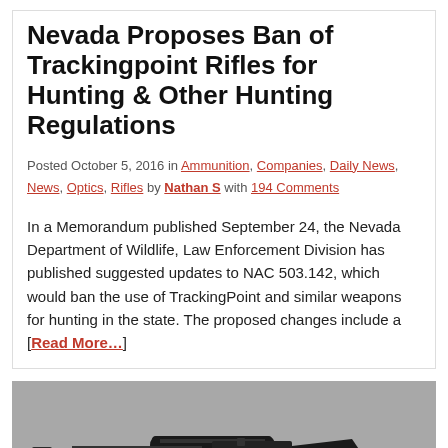Nevada Proposes Ban of Trackingpoint Rifles for Hunting & Other Hunting Regulations
Posted October 5, 2016 in Ammunition, Companies, Daily News, News, Optics, Rifles by Nathan S with 194 Comments
In a Memorandum published September 24, the Nevada Department of Wildlife, Law Enforcement Division has published suggested updates to NAC 503.142, which would ban the use of TrackingPoint and similar weapons for hunting in the state. The proposed changes include a [Read More…]
[Figure (photo): Black and white/grayscale silhouette image of a TrackingPoint rifle with scope, and an advertisement banner for Franklin Armory with BFS logo at the bottom]